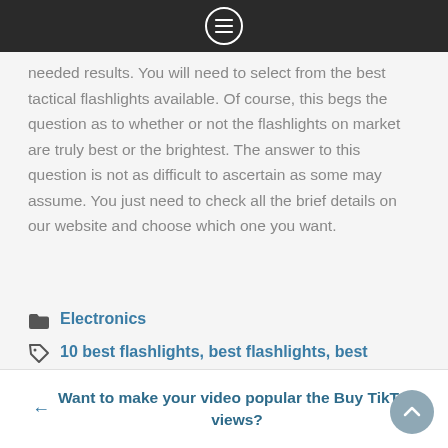needed results. You will need to select from the best tactical flashlights available. Of course, this begs the question as to whether or not the flashlights on market are truly best or the brightest. The answer to this question is not as difficult to ascertain as some may assume. You just need to check all the brief details on our website and choose which one you want.
Electronics
10 best flashlights, best flashlights, best flashlights available, best flashlights list, the best flashlights, top 10 flashlights
← Want to make your video popular the Buy TikTok views?